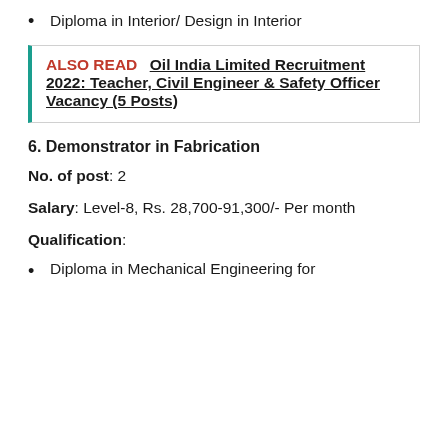Diploma in Interior/ Design in Interior
ALSO READ  Oil India Limited Recruitment 2022: Teacher, Civil Engineer & Safety Officer Vacancy (5 Posts)
6. Demonstrator in Fabrication
No. of post: 2
Salary: Level-8, Rs. 28,700-91,300/- Per month
Qualification:
Diploma in Mechanical Engineering for